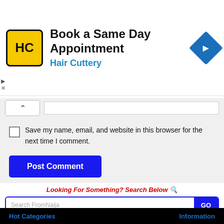[Figure (screenshot): Advertisement banner for Hair Cuttery with logo, title 'Book a Same Day Appointment', subtitle 'Hair Cuttery' in blue, and a blue diamond navigation icon on the right.]
[Figure (screenshot): Web form UI showing a collapse/expand button (chevron up) and a text input field.]
Save my name, email, and website in this browser for the next time I comment.
Post Comment
Looking For Something? Search Below 🔍
Search FromNaija
Hot Categories    Information